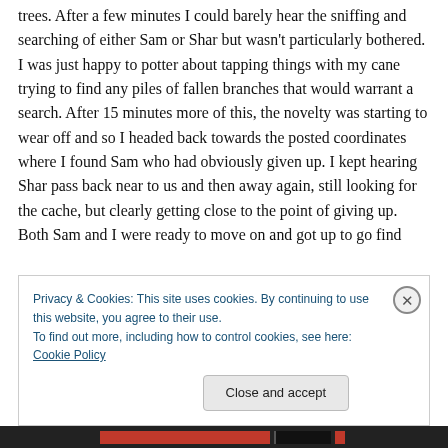trees. After a few minutes I could barely hear the sniffing and searching of either Sam or Shar but wasn't particularly bothered. I was just happy to potter about tapping things with my cane trying to find any piles of fallen branches that would warrant a search. After 15 minutes more of this, the novelty was starting to wear off and so I headed back towards the posted coordinates where I found Sam who had obviously given up. I kept hearing Shar pass back near to us and then away again, still looking for the cache, but clearly getting close to the point of giving up. Both Sam and I were ready to move on and got up to go find
Privacy & Cookies: This site uses cookies. By continuing to use this website, you agree to their use.
To find out more, including how to control cookies, see here: Cookie Policy